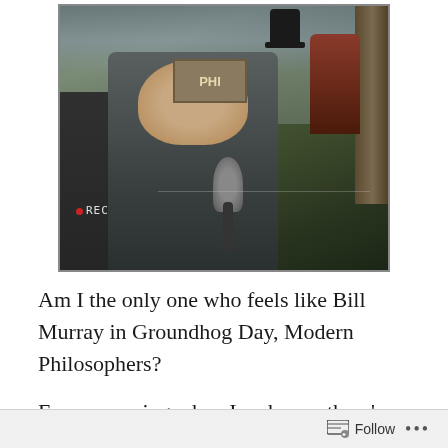[Figure (photo): Film still from Groundhog Day showing Bill Murray as a TV reporter holding a microphone, with a camera visible showing REC indicator, crowd and men in top hats in the background, a wooden sign reading PHI visible.]
Am I the only one who feels like Bill Murray in Groundhog Day, Modern Philosophers?
Every morning when I wake up, there’s this creepy sense of deja vu.  I’m not sure what day it is anymore since I don’t have to go to work, rarely leave the house, don’t see other humans, and do pretty much the exact same thing in
Follow  •••